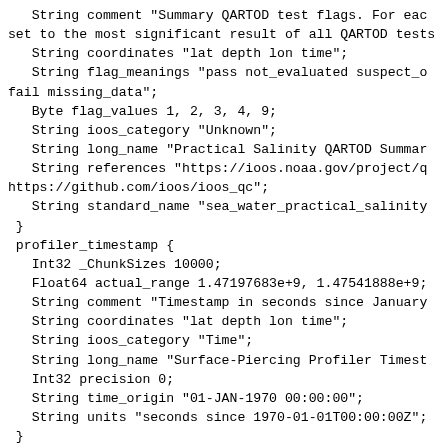String comment "Summary QARTOD test flags. For each set to the most significant result of all QARTOD tests
    String coordinates "lat depth lon time";
    String flag_meanings "pass not_evaluated suspect_o
fail missing_data";
    Byte flag_values 1, 2, 3, 4, 9;
    String ioos_category "Unknown";
    String long_name "Practical Salinity QARTOD Summar
    String references "https://ioos.noaa.gov/project/q
https://github.com/ioos/ioos_qc";
    String standard_name "sea_water_practical_salinity
  }
  profiler_timestamp {
    Int32 _ChunkSizes 10000;
    Float64 actual_range 1.47197683e+9, 1.47541888e+9;
    String comment "Timestamp in seconds since January
    String coordinates "lat depth lon time";
    String ioos_category "Time";
    String long_name "Surface-Piercing Profiler Timest
    Int32 precision 0;
    String time_origin "01-JAN-1970 00:00:00";
    String units "seconds since 1970-01-01T00:00:00Z";
  }
  salinity_qc_results {
    Int32 _ChunkSizes 10000;
    Int32 _FillValue -1;